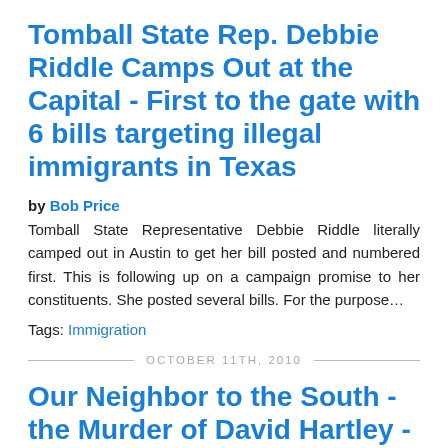Tomball State Rep. Debbie Riddle Camps Out at the Capital - First to the gate with 6 bills targeting illegal immigrants in Texas
by Bob Price
Tomball State Representative Debbie Riddle literally camped out in Austin to get her bill posted and numbered first. This is following up on a campaign promise to her constituents. She posted several bills. For the purpose...
Tags: Immigration
OCTOBER 11TH, 2010
Our Neighbor to the South - the Murder of David Hartley -